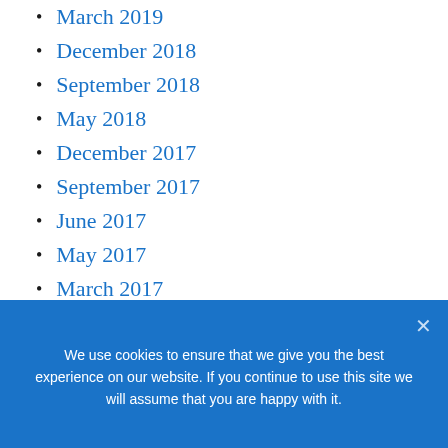March 2019
December 2018
September 2018
May 2018
December 2017
September 2017
June 2017
May 2017
March 2017
January 2017
December 2016
November 2016
We use cookies to ensure that we give you the best experience on our website. If you continue to use this site we will assume that you are happy with it.